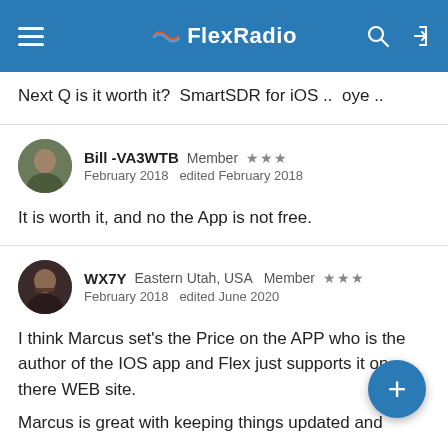FlexRadio
Next Q is it worth it?  SmartSDR for iOS ..  oye ..
Bill -VA3WTB   Member   ★★★
February 2018   edited February 2018
It is worth it, and no the App is not free.
WX7Y   Eastern Utah, USA   Member   ★★★
February 2018   edited June 2020
I think Marcus set's the Price on the APP who is the author of the IOS app and Flex just supports it on there WEB site.
Marcus is great with keeping things updated and